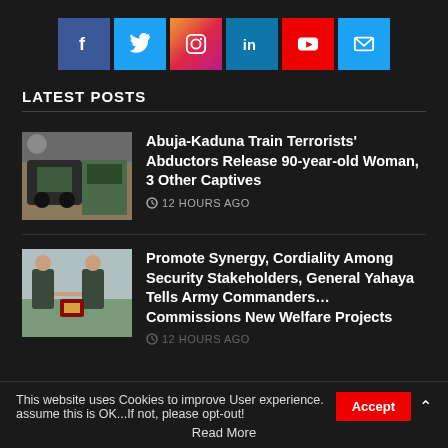[Figure (other): Row of social media icons: Facebook, Twitter, Instagram, LinkedIn, YouTube, Email]
LATEST POSTS
[Figure (photo): Thumbnail image of military vehicle/train scene]
Abuja-Kaduna Train Terrorists' Abductors Release 90-year-old Woman, 3 Other Captives
12 HOURS AGO
[Figure (photo): Thumbnail image of two military officers shaking hands]
Promote Synergy, Cordiality Among Security Stakeholders, General Yahaya Tells Army Commanders… Commissions New Welfare Projects
12 HOURS AGO
This website uses Cookies to improve User experience. assume this is OK...If not, please opt-out!
Accept
Read More